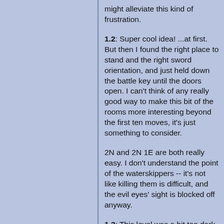might alleviate this kind of frustration.
1.2: Super cool idea! ...at first. But then I found the right place to stand and the right sword orientation, and just held down the battle key until the doors open. I can't think of any really good way to make this bit of the rooms more interesting beyond the first ten moves, it's just something to consider.
2N and 2N 1E are both really easy. I don't understand the point of the waterskippers -- it's not like killing them is difficult, and the evil eyes' sight is blocked off anyway.
1.3: This level was a bit too dark. While the constraint was fun, I never got disqualified (except in 1N -- very nice room), so it could be a few turns tighter. Just like 1.1, the emphasis on only roaches and gel babies may have held back this